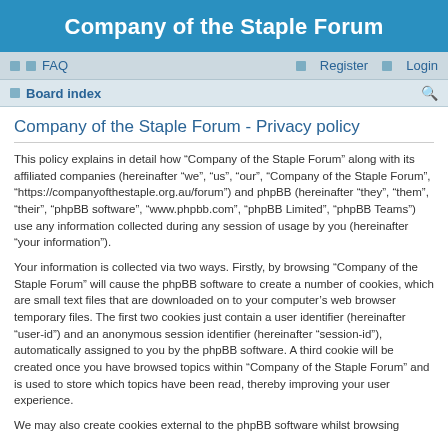Company of the Staple Forum
FAQ   Register   Login   Board index
Company of the Staple Forum - Privacy policy
This policy explains in detail how “Company of the Staple Forum” along with its affiliated companies (hereinafter “we”, “us”, “our”, “Company of the Staple Forum”, “https://companyofthestaple.org.au/forum”) and phpBB (hereinafter “they”, “them”, “their”, “phpBB software”, “www.phpbb.com”, “phpBB Limited”, “phpBB Teams”) use any information collected during any session of usage by you (hereinafter “your information”).
Your information is collected via two ways. Firstly, by browsing “Company of the Staple Forum” will cause the phpBB software to create a number of cookies, which are small text files that are downloaded on to your computer’s web browser temporary files. The first two cookies just contain a user identifier (hereinafter “user-id”) and an anonymous session identifier (hereinafter “session-id”), automatically assigned to you by the phpBB software. A third cookie will be created once you have browsed topics within “Company of the Staple Forum” and is used to store which topics have been read, thereby improving your user experience.
We may also create cookies external to the phpBB software whilst browsing